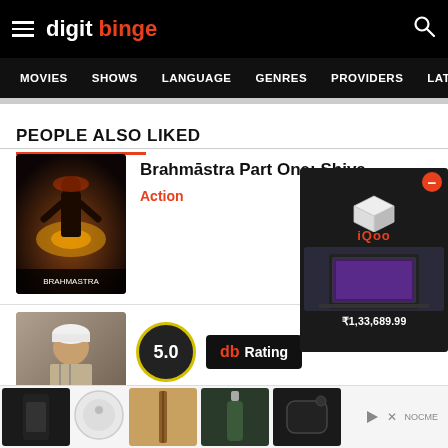digit binge — navigation header
PEOPLE ALSO LIKED
[Figure (photo): Movie poster for Brahmāstra Part One: Shiva — a dark fantasy action film poster with a mythological warrior figure]
Brahmāstra Part One: Shiva
Action
[Figure (photo): Movie poster for Laal Singh Chaddha with actor in turban]
5.0
db Rating
Laal Singh Chadda
[Figure (photo): Advertisement banner showing a laptop product at ₹1,33,689.99 with IQOO branding and product thumbnails]